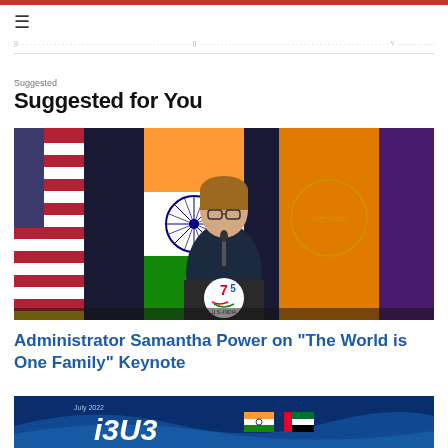Suggested for You
[Figure (photo): Administrator Samantha Power speaking at a podium with US-India 75 logo, flanked by American flag, Indian flag, and orange flags on a dark stage background]
Administrator Samantha Power on “The World is One Family” Keynote
[Figure (photo): Blue banner graphic with text 'July 2022' and stylized number '1312' or similar with Indian and UAE flags]